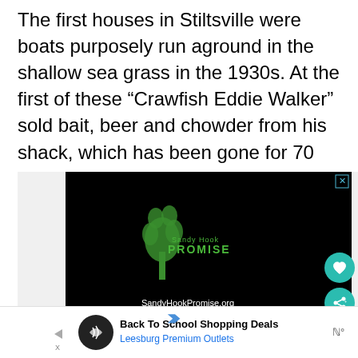The first houses in Stiltsville were boats purposely run aground in the shallow sea grass in the 1930s. At the first of these “Crawfish Eddie Walker” sold bait, beer and chowder from his shack, which has been gone for 70 years, thanks to a 1950 hurricane.
[Figure (other): Sandy Hook Promise advertisement on black background with green tree logo made of handprints, text reads 'Sandy Hook PROMISE' and 'SandyHookPromise.org']
[Figure (other): Bottom banner advertisement for 'Back To School Shopping Deals' at Leesburg Premium Outlets with dark circular icon and blue navigation arrow]